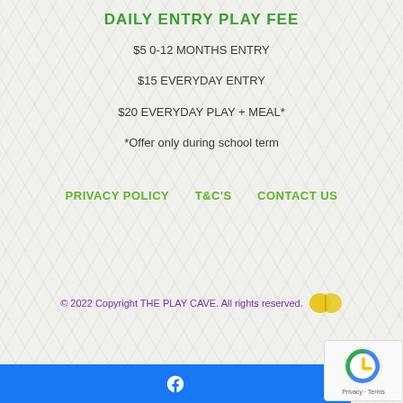DAILY ENTRY PLAY FEE
$5 0-12 MONTHS ENTRY
$15 EVERYDAY ENTRY
$20 EVERYDAY PLAY + MEAL*
*Offer only during school term
PRIVACY POLICY   T&C'S   CONTACT US
© 2022 Copyright THE PLAY CAVE. All rights reserved.
Facebook link bar